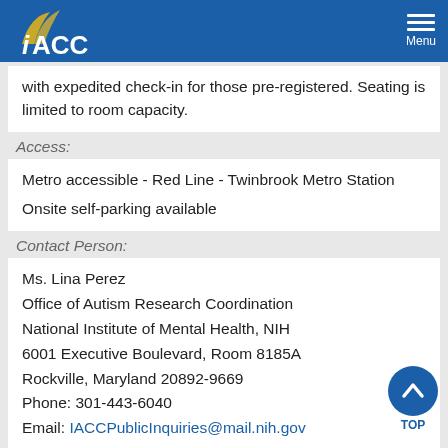IACC Menu
with expedited check-in for those pre-registered. Seating is limited to room capacity.
Access:
Metro accessible - Red Line - Twinbrook Metro Station
Onsite self-parking available
Contact Person:
Ms. Lina Perez
Office of Autism Research Coordination
National Institute of Mental Health, NIH
6001 Executive Boulevard, Room 8185A
Rockville, Maryland 20892-9669
Phone: 301-443-6040
Email: IACCPublicInquiries@mail.nih.gov